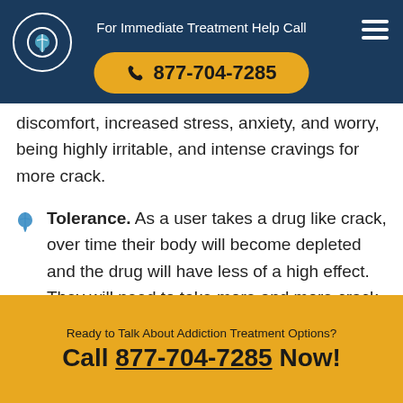For Immediate Treatment Help Call 877-704-7285
discomfort, increased stress, anxiety, and worry, being highly irritable, and intense cravings for more crack.
Tolerance. As a user takes a drug like crack, over time their body will become depleted and the drug will have less of a high effect. They will need to take more and more crack to continue feeling the high they want. Increasing the amount of a drug that a user is taking, of course, also increases the chances of overdosing.
Ready to Talk About Addiction Treatment Options? Call 877-704-7285 Now!